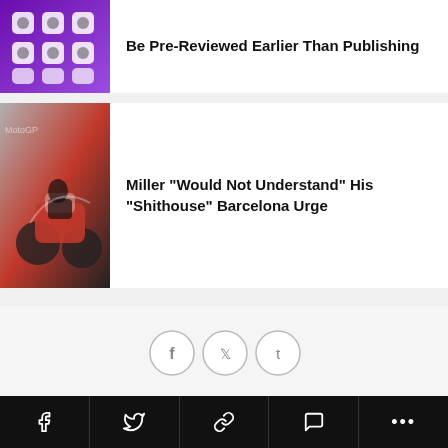[Figure (photo): Purple background with app icons on a smartphone screen]
Be Pre-Reviewed Earlier Than Publishing
[Figure (photo): MotoGP racing motorcycles leaning on a track, red and white livery]
Miller “Would Not Understand” His “Shithouse” Barcelona Urge
[Figure (infographic): Social media share icons: Facebook, Twitter, Tumblr in outlined circles]
Caull
Write for us   Advertise With us   Privacy Policy
[Figure (infographic): Bottom navigation bar with Facebook, Twitter, link, comment, and more icons on black background]